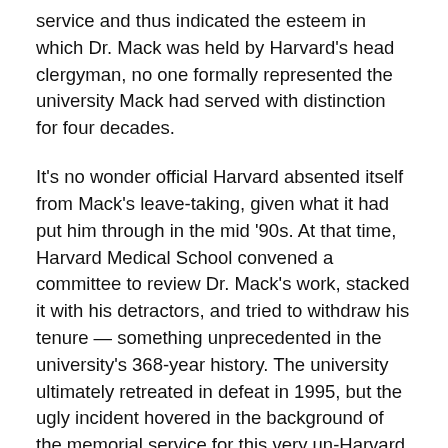service and thus indicated the esteem in which Dr. Mack was held by Harvard's head clergyman, no one formally represented the university Mack had served with distinction for four decades.
It's no wonder official Harvard absented itself from Mack's leave-taking, given what it had put him through in the mid '90s. At that time, Harvard Medical School convened a committee to review Dr. Mack's work, stacked it with his detractors, and tried to withdraw his tenure — something unprecedented in the university's 368-year history. The university ultimately retreated in defeat in 1995, but the ugly incident hovered in the background of the memorial service for this very un-Harvard sort of genius, who died after being hit by a drunk driver in London in late September, at age 74.
DR. MACK HAD...